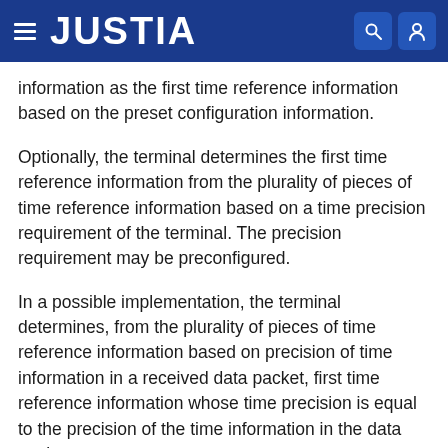JUSTIA
information as the first time reference information based on the preset configuration information.
Optionally, the terminal determines the first time reference information from the plurality of pieces of time reference information based on a time precision requirement of the terminal. The precision requirement may be preconfigured.
In a possible implementation, the terminal determines, from the plurality of pieces of time reference information based on precision of time information in a received data packet, first time reference information whose time precision is equal to the precision of the time information in the data packet.
The following uses, for description, an example in which device information of one control device is